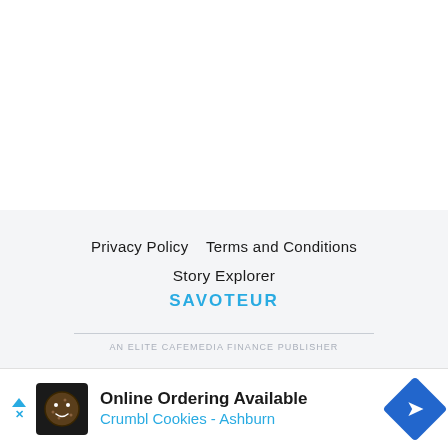Privacy Policy   Terms and Conditions
Story Explorer
SAVOTEUR
AN ELITE CAFEMEDIA FINANCE PUBLISHER
[Figure (infographic): Advertisement banner for Crumbl Cookies - Ashburn, showing Online Ordering Available with cookie logo and navigation arrow icon]